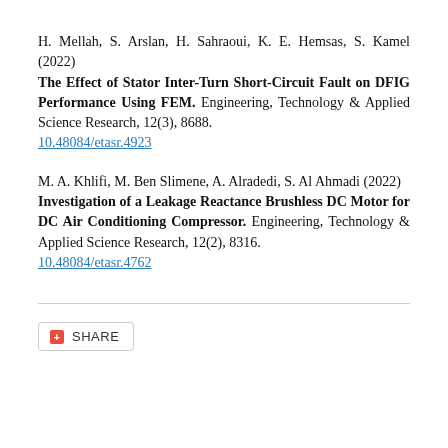H. Mellah, S. Arslan, H. Sahraoui, K. E. Hemsas, S. Kamel (2022) The Effect of Stator Inter-Turn Short-Circuit Fault on DFIG Performance Using FEM. Engineering, Technology & Applied Science Research, 12(3), 8688. 10.48084/etasr.4923
M. A. Khlifi, M. Ben Slimene, A. Alradedi, S. Al Ahmadi (2022) Investigation of a Leakage Reactance Brushless DC Motor for DC Air Conditioning Compressor. Engineering, Technology & Applied Science Research, 12(2), 8316. 10.48084/etasr.4762